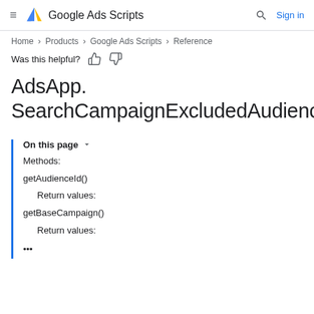Google Ads Scripts
Home > Products > Google Ads Scripts > Reference
Was this helpful?
AdsApp.SearchCampaignExcludedAudience
On this page
Methods:
getAudienceId()
Return values:
getBaseCampaign()
Return values:
...